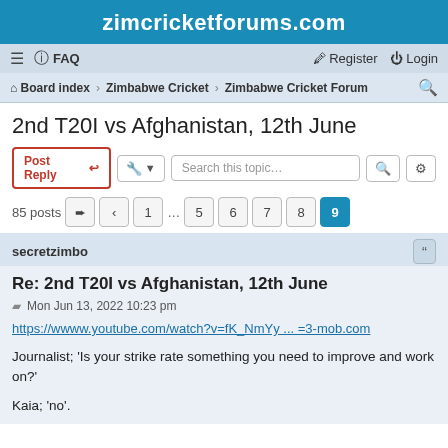zimcricketforums.com
≡  FAQ    Register  Login
Board index › Zimbabwe Cricket › Zimbabwe Cricket Forum
2nd T20I vs Afghanistan, 12th June
Post Reply   [tools]   Search this topic…
85 posts  → < 1 … 5 6 7 8 9
secretzimbo
Re: 2nd T20I vs Afghanistan, 12th June
Mon Jun 13, 2022 10:23 pm
https://wwww.youtube.com/watch?v=fK_NmYy ... =3-mob.com
Journalist; 'Is your strike rate something you need to improve and work on?'

Kaia; 'no'.